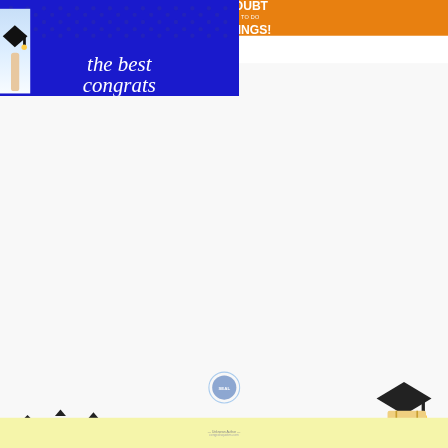[Figure (illustration): Collage of graduation congratulations cards and quotes. Top-left: teal strip with 'YOU'RE OFF TO PLACES TODAY IS YOUR DAY YOUR MOUNTAIN IS WAITING SO.... GET ON YOUR WAY' in Dr. Seuss style. Top-center: cloud background card with script text 'never easy but you dared not give up you will never be closer to your dreams if you were able to get through' and 'So proud of you! Congratulations!' with mortarboard and diploma illustration. Top-right: wood-framed card with script 'You fought battles, overcame obstacles You had a goal, gave it your soul You worked hard, went the extra yard You gave it your all, you stand tall CONGRATULATIONS'. Middle-left: white background with cursive red text 'your graduation is the beginning of many more wonderful achievements in your life. Congratulations' with graduation cap and scroll. Middle-center: blue sky with nursing quote by Kim LaDien. Middle-right: orange/yellow card 'CONGRATULATIONS GRADUATE QUOTES NEVER DOUBT YOU WERE BORN TO DO GREAT THINGS!'. Bottom: partial views of more graduation cards including blue polka-dot card with 'the best congrats'.]